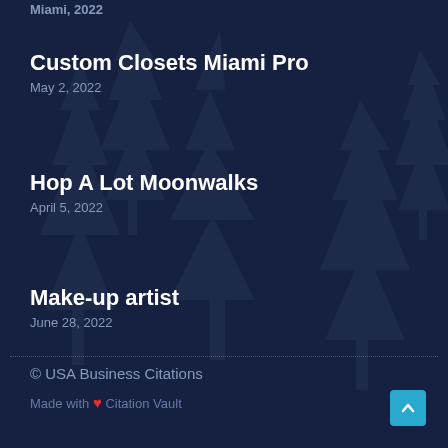Miami, 2022
Custom Closets Miami Pro
May 2, 2022
Hop A Lot Moonwalks
April 5, 2022
Make-up artist
June 28, 2022
© USA Business Citations
Made with ❤ Citation Vault